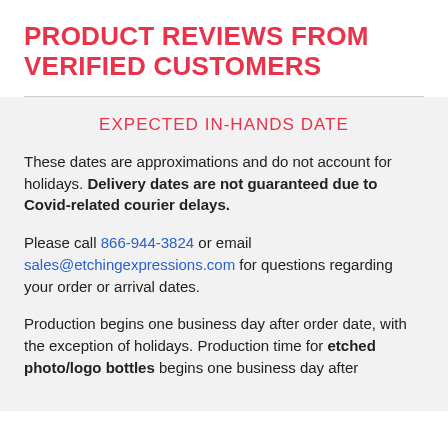PRODUCT REVIEWS FROM VERIFIED CUSTOMERS
EXPECTED IN-HANDS DATE
These dates are approximations and do not account for holidays. Delivery dates are not guaranteed due to Covid-related courier delays.
Please call 866-944-3824 or email sales@etchingexpressions.com for questions regarding your order or arrival dates.
Production begins one business day after order date, with the exception of holidays. Production time for etched photo/logo bottles begins one business day after